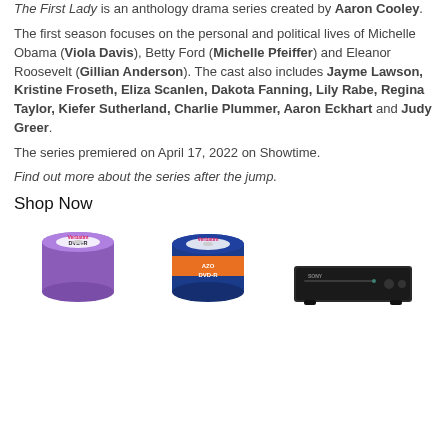The First Lady is an anthology drama series created by Aaron Cooley.
The first season focuses on the personal and political lives of Michelle Obama (Viola Davis), Betty Ford (Michelle Pfeiffer) and Eleanor Roosevelt (Gillian Anderson). The cast also includes Jayme Lawson, Kristine Froseth, Eliza Scanlen, Dakota Fanning, Lily Rabe, Regina Taylor, Kiefer Sutherland, Charlie Plummer, Aaron Eckhart and Judy Greer.
The series premiered on April 17, 2022 on Showtime.
Find out more about the series after the jump.
Shop Now
[Figure (photo): Three product images: Verbatim DVD+R spindle (purple), Verbatim AZO DVD-R spindle (orange/blue), and a Sony DVD player]